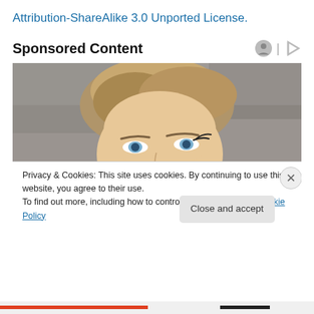Attribution-ShareAlike 3.0 Unported License.
Sponsored Content
[Figure (photo): Close-up photo of a young woman with blonde hair in an updo, looking upward against a gray concrete background, cropped to show from forehead to chin.]
Privacy & Cookies: This site uses cookies. By continuing to use this website, you agree to their use.
To find out more, including how to control cookies, see here: Cookie Policy
Close and accept